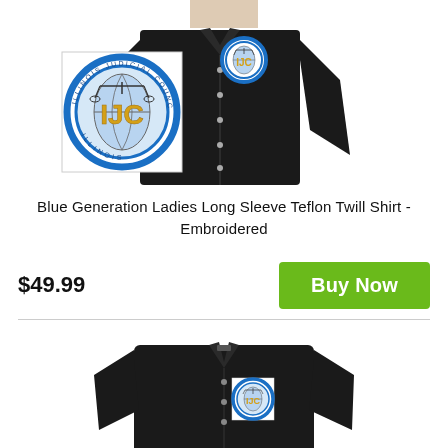[Figure (photo): Black long sleeve ladies shirt with IJC logo embroidered on the chest, shown on a mannequin/person. A larger IJC logo is overlaid to the left side of the shirt.]
Blue Generation Ladies Long Sleeve Teflon Twill Shirt - Embroidered
$49.99
Buy Now
[Figure (photo): Black ladies shirt with IJC logo embroidered on the chest, shown flat/on a form, bottom portion of the page.]